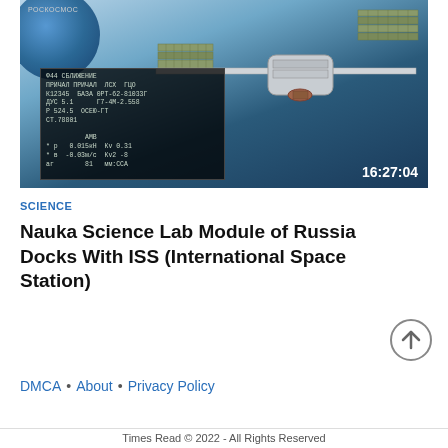[Figure (photo): A composite video frame showing the Russian ISS module (Nauka) docking with the International Space Station. The left half shows a telemetry/instrument display screen with Cyrillic text and technical readouts. The right half shows the actual ISS with solar panels against a blue Earth/sky background. A timestamp 16:27:04 is visible in the lower right corner. РОСКОСМОС watermark in upper left.]
SCIENCE
Nauka Science Lab Module of Russia Docks With ISS (International Space Station)
DMCA • About • Privacy Policy
Times Read © 2022 - All Rights Reserved